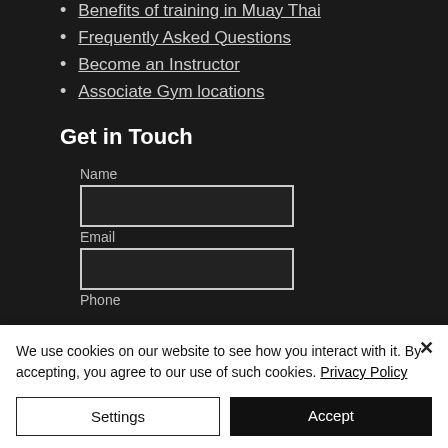Benefits of training in Muay Thai
Frequently Asked Questions
Become an Instructor
Associate Gym locations
Get in Touch
Name
Email
Phone
We use cookies on our website to see how you interact with it. By accepting, you agree to our use of such cookies. Privacy Policy
Settings
Accept